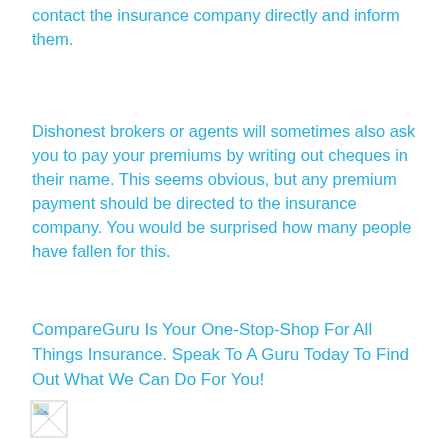contact the insurance company directly and inform them.
Dishonest brokers or agents will sometimes also ask you to pay your premiums by writing out cheques in their name. This seems obvious, but any premium payment should be directed to the insurance company. You would be surprised how many people have fallen for this.
CompareGuru Is Your One-Stop-Shop For All Things Insurance. Speak To A Guru Today To Find Out What We Can Do For You!
[Figure (other): Small broken/placeholder image icon in the bottom left corner]